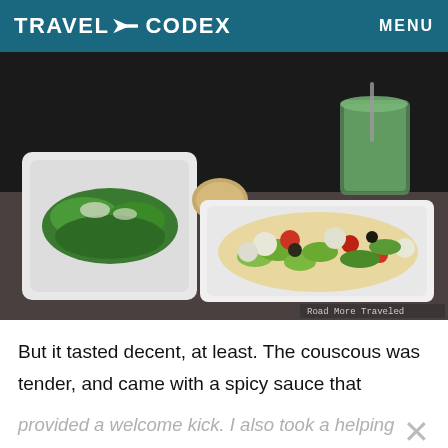TRAVEL CODEX   MENU
[Figure (photo): Airplane meal tray with a white rectangular dish containing couscous with mixed vegetables (green peppers, cauliflower, red tomatoes, zucchini), a side salad bowl with greens, and a green drink in a glass. Watermark reads 'Road More Traveled'.]
Road More Traveled
But it tasted decent, at least.  The couscous was tender, and came with a spicy sauce that
provided a welcome kick.  I also took a helping from the bread basket, but sadly, there were no